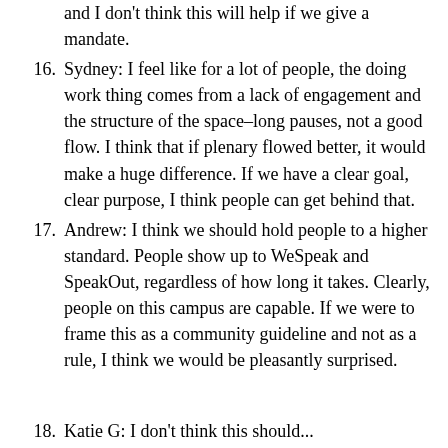(continuation) and I don't think this will help if we give a mandate.
16. Sydney: I feel like for a lot of people, the doing work thing comes from a lack of engagement and the structure of the space–long pauses, not a good flow. I think that if plenary flowed better, it would make a huge difference. If we have a clear goal, clear purpose, I think people can get behind that.
17. Andrew: I think we should hold people to a higher standard. People show up to WeSpeak and SpeakOut, regardless of how long it takes. Clearly, people on this campus are capable. If we were to frame this as a community guideline and not as a rule, I think we would be pleasantly surprised.
18. Katie G: I don't think this should...